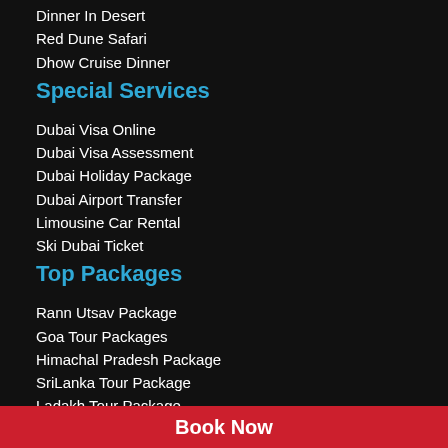Dinner In Desert
Red Dune Safari
Dhow Cruise Dinner
Special Services
Dubai Visa Online
Dubai Visa Assessment
Dubai Holiday Package
Dubai Airport Transfer
Limousine Car Rental
Ski Dubai Ticket
Top Packages
Rann Utsav Package
Goa Tour Packages
Himachal Pradesh Package
SriLanka Tour Package
Ladakh Tour Package
Bhutan Tour Package
Nepal Tour Package
Andaman Tour Package
Ooty Coorg Mysore Package
Kerala Tour Package
Book Now